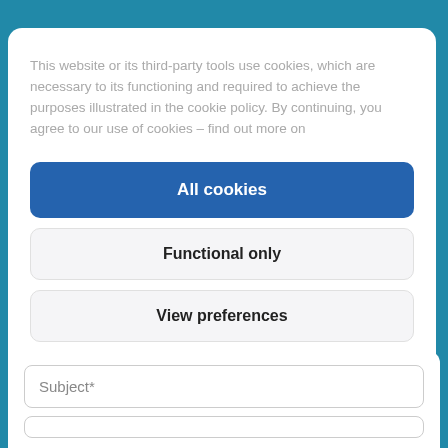This website or its third-party tools use cookies, which are necessary to its functioning and required to achieve the purposes illustrated in the cookie policy. By continuing, you agree to our use of cookies – find out more on
All cookies
Functional only
View preferences
Cookie policy   Privacy Policy   Privacy Policy
Subject*